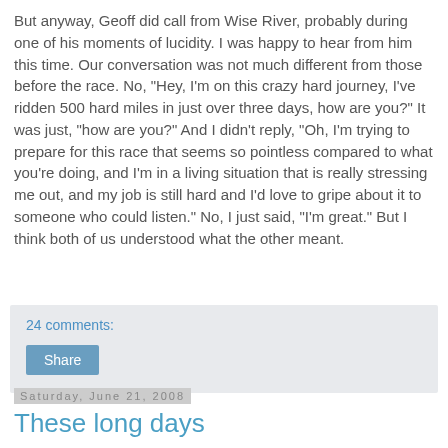But anyway, Geoff did call from Wise River, probably during one of his moments of lucidity. I was happy to hear from him this time. Our conversation was not much different from those before the race. No, "Hey, I'm on this crazy hard journey, I've ridden 500 hard miles in just over three days, how are you?" It was just, "how are you?" And I didn't reply, "Oh, I'm trying to prepare for this race that seems so pointless compared to what you're doing, and I'm in a living situation that is really stressing me out, and my job is still hard and I'd love to gripe about it to someone who could listen." No, I just said, "I'm great." But I think both of us understood what the other meant.
24 comments:
Share
Saturday, June 21, 2008
These long days